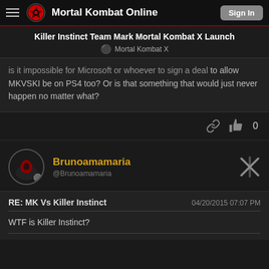Mortal Kombat Online | Sign In
Killer Instinct Team Mark Mortal Kombat X Launch
Mortal Kombat X
is it impossible for Microsoft or whoever to sign a deal to allow MKVSKI be on PS4 too? Or is that something that would just never happen no matter what?
0
Brunoamamaria
@Brunoamamaria
RE: MK Vs Killer Instinct
04/20/2015 07:07 PM
WTF is Killer Instinct?